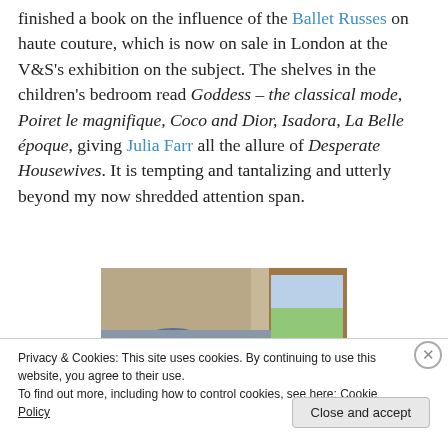finished a book on the influence of the Ballet Russes on haute couture, which is now on sale in London at the V&S's exhibition on the subject. The shelves in the children's bedroom read Goddess – the classical mode, Poiret le magnifique, Coco and Dior, Isadora, La Belle époque, giving Julia Farr all the allure of Desperate Housewives. It is tempting and tantalizing and utterly beyond my now shredded attention span.
[Figure (photo): Partial photograph showing a room interior with a window looking out to greenery, and a person's head/back visible in the foreground.]
Privacy & Cookies: This site uses cookies. By continuing to use this website, you agree to their use.
To find out more, including how to control cookies, see here: Cookie Policy